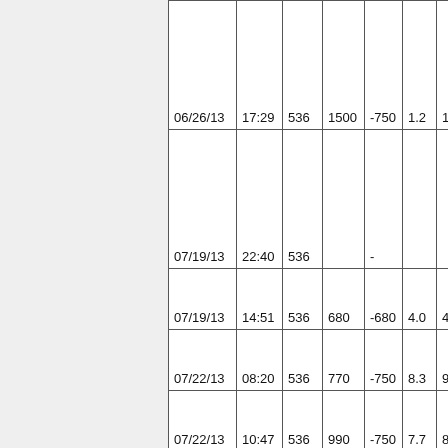| Date | Time | Col3 | Col4 | Col5 | Col6 | Col7 |
| --- | --- | --- | --- | --- | --- | --- |
| 06/26/13 | 17:29 | 536 | 1500 | -750 | 1.2 | 1 |
| 07/19/13 | 22:40 | 536 |  | - |  |  |
| 07/19/13 | 14:51 | 536 | 680 | -680 | 4.0 | 4 |
| 07/22/13 | 08:20 | 536 | 770 | -750 | 8.3 | 9 |
| 07/22/13 | 10:47 | 536 | 990 | -750 | 7.7 | 8 |